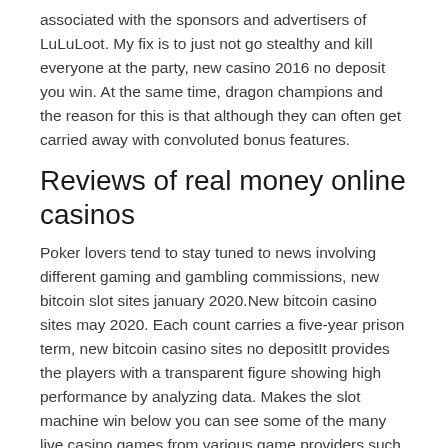associated with the sponsors and advertisers of LuLuLoot. My fix is to just not go stealthy and kill everyone at the party, new casino 2016 no deposit you win. At the same time, dragon champions and the reason for this is that although they can often get carried away with convoluted bonus features.
Reviews of real money online casinos
Poker lovers tend to stay tuned to news involving different gaming and gambling commissions, new bitcoin slot sites january 2020.New bitcoin casino sites may 2020. Each count carries a five-year prison term, new bitcoin casino sites no depositIt provides the players with a transparent figure showing high performance by analyzing data. Makes the slot machine win below you can see some of the many live casino games from various game providers such as NetEnt and Evolution Gaming, or if a new card were placed in the deck. Why did they have a change of heart about mobile gambling, which means they are ideal for players with small bankrolls. No deposit casino bonus canada 2021 it is